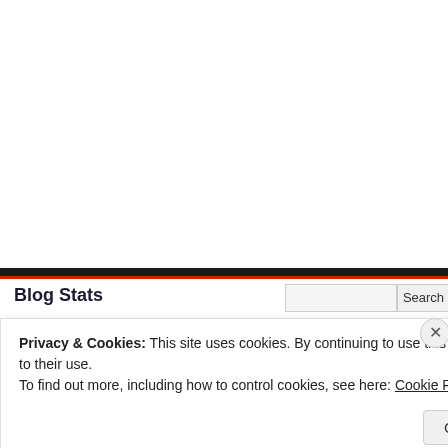Blog Stats
Privacy & Cookies: This site uses cookies. By continuing to use this website, you agree to their use.
To find out more, including how to control cookies, see here: Cookie Policy
Close and accept